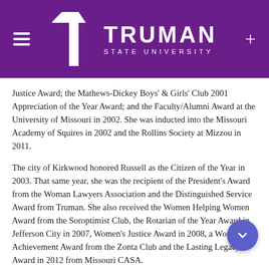[Figure (logo): Truman State University logo with purple background, white T icon and TRUMAN STATE UNIVERSITY text]
Justice Award; the Mathews-Dickey Boys' & Girls' Club 2001 Appreciation of the Year Award; and the Faculty/Alumni Award at the University of Missouri in 2002. She was inducted into the Missouri Academy of Squires in 2002 and the Rollins Society at Mizzou in 2011.
The city of Kirkwood honored Russell as the Citizen of the Year in 2003. That same year, she was the recipient of the President's Award from the Woman Lawyers Association and the Distinguished Service Award from Truman. She also received the Women Helping Women Award from the Soroptimist Club, the Rotarian of the Year Award in Jefferson City in 2007, Women's Justice Award in 2008, a Woman of Achievement Award from the Zonta Club and the Lasting Legacy Award in 2012 from Missouri CASA.
Russell spends a lot of her time guest speaking and is an active member of the Back Stoppers Board of Directors, Jefferson City Rotary Club, PEO, the Missouri Women's Forum, Grace Episcopal Church and the Missouri Historical Society. She also volunteers as a